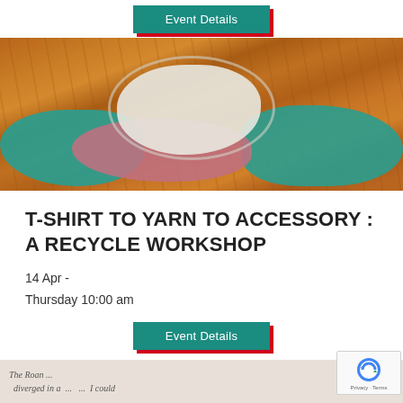[Figure (other): Teal, pink, and white yarn/fabric strips arranged on a wooden floor, viewed from above]
T-SHIRT TO YARN TO ACCESSORY : A RECYCLE WORKSHOP
14 Apr -
Thursday 10:00 am
[Figure (other): Event Details button with teal background and red shadow]
[Figure (photo): Handwritten text on paper, partially visible at bottom of page]